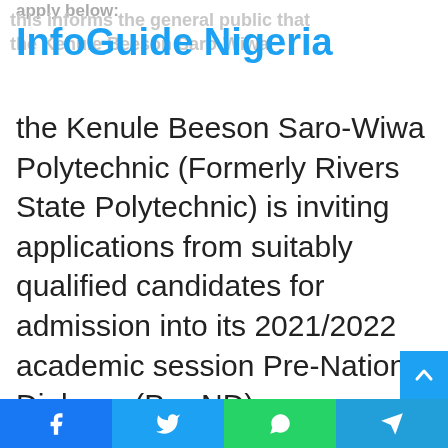apply below:
InfoGuide Nigeria
this informs the general public that the Kenule Beeson Saro-Wiwa Polytechnic (Formerly Rivers State Polytechnic) is inviting applications from suitably qualified candidates for admission into its 2021/2022 academic session Pre-National Diploma (Pre-ND) programmes.
[Figure (logo): Rivers State Polytechnic logo — orange square badge with gear/cog wheel border, inner circular emblem, text RIVERS STATE POLYTECHNIC at top]
Facebook | Twitter | WhatsApp | Telegram share buttons